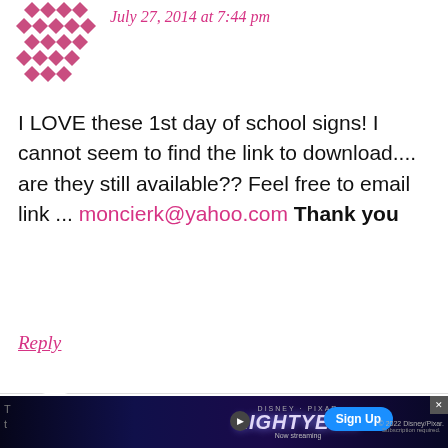[Figure (illustration): Pink diamond/checkerboard pattern avatar icon]
July 27, 2014 at 7:44 pm
I LOVE these 1st day of school signs! I cannot seem to find the link to download.... are they still available?? Feel free to email link ... moncierk@yahoo.com Thank you
Reply
[Figure (illustration): Green geometric flower/mandala pattern avatar icon]
Maggie says
August 1, 2014 at 7:21 pm
[Figure (screenshot): Disney Pixar Lightyear advertisement banner with Sign Up button for Disney+]